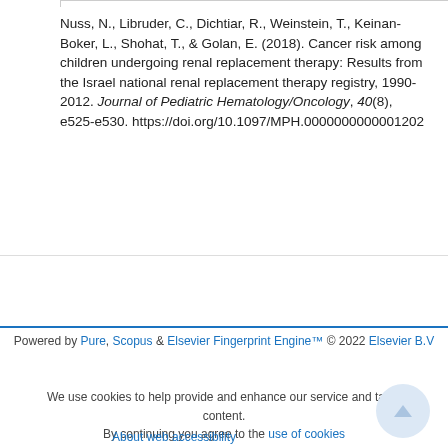Nuss, N., Libruder, C., Dichtiar, R., Weinstein, T., Keinan-Boker, L., Shohat, T., & Golan, E. (2018). Cancer risk among children undergoing renal replacement therapy: Results from the Israel national renal replacement therapy registry, 1990-2012. Journal of Pediatric Hematology/Oncology, 40(8), e525-e530. https://doi.org/10.1097/MPH.0000000000001202
Powered by Pure, Scopus & Elsevier Fingerprint Engine™ © 2022 Elsevier B.V
We use cookies to help provide and enhance our service and tailor content. By continuing you agree to the use of cookies
About web accessibility